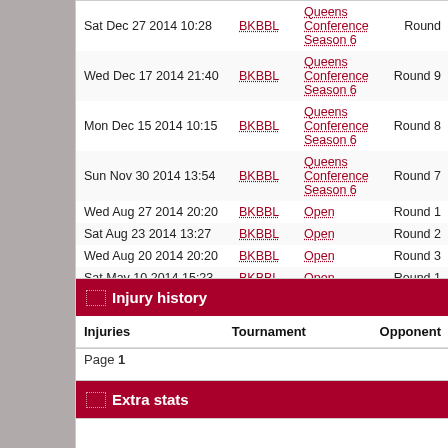| Date | League | Tournament | Round |
| --- | --- | --- | --- |
| Sat Dec 27 2014 10:28 | BKBBL | Queens Conference Season 6 | Round |
| Wed Dec 17 2014 21:40 | BKBBL | Queens Conference Season 6 | Round 9 |
| Mon Dec 15 2014 10:15 | BKBBL | Queens Conference Season 6 | Round 8 |
| Sun Nov 30 2014 13:54 | BKBBL | Queens Conference Season 6 | Round 7 |
| Wed Aug 27 2014 20:20 | BKBBL | Open | Round 1 |
| Sat Aug 23 2014 13:27 | BKBBL | Open | Round 2 |
| Wed Aug 20 2014 20:20 | BKBBL | Open | Round 3 |
| Sat May 10 2014 15:23 | BKBBL | Open | Round 1 |
| Tue May 6 2014 14:47 | BKBBL | Open | Round 1 |
| Sat May 3 2014 17:18 | BKBBL | Open | Round 1 |
Page 1
Injury history
| Injuries | Tournament | Opponent |
| --- | --- | --- |
Extra stats